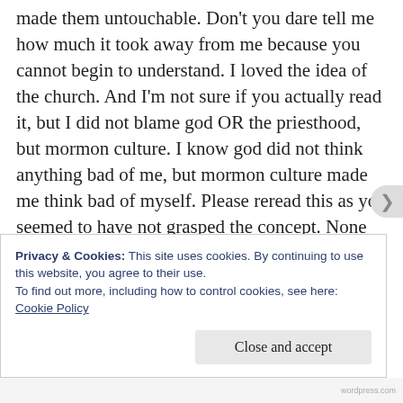made them untouchable. Don't you dare tell me how much it took away from me because you cannot begin to understand. I loved the idea of the church. And I'm not sure if you actually read it, but I did not blame god OR the priesthood, but mormon culture. I know god did not think anything bad of me, but mormon culture made me think bad of myself. Please reread this as you seemed to have not grasped the concept. None of my guilt came from god. I never said that once. And the fact that you choose to tell me I am things and I felt things that I didn't is disgusting and
Privacy & Cookies: This site uses cookies. By continuing to use this website, you agree to their use.
To find out more, including how to control cookies, see here: Cookie Policy
Close and accept